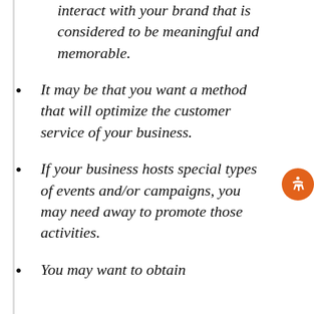interact with your brand that is considered to be meaningful and memorable.
It may be that you want a method that will optimize the customer service of your business.
If your business hosts special types of events and/or campaigns, you may need away to promote those activities.
You may want to obtain